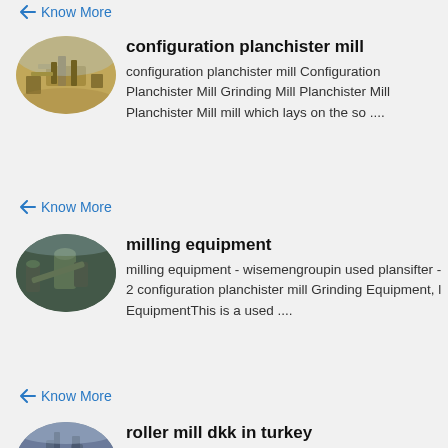Know More
[Figure (photo): Industrial milling/crushing equipment site, oval shaped photo]
configuration planchister mill
configuration planchister mill Configuration Planchister Mill Grinding Mill Planchister Mill Planchister Mill mill which lays on the so ....
Know More
[Figure (photo): Industrial milling equipment with tanks and conveyors, oval shaped photo]
milling equipment
milling equipment - wisemengroupin used plansifter - 2 configuration planchister mill Grinding Equipment, I EquipmentThis is a used ....
Know More
[Figure (photo): Industrial roller mill equipment, oval shaped photo]
roller mill dkk in turkey
configuration planchister mill grinding mill equipment planchister mill If you want to